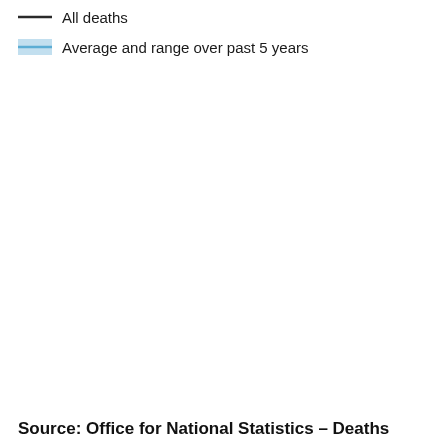[Figure (other): Legend items for a chart: 'All deaths' shown with a dark line icon, and 'Average and range over past 5 years' shown with a light blue filled rectangle with a line through it]
Source: Office for National Statistics – Deaths